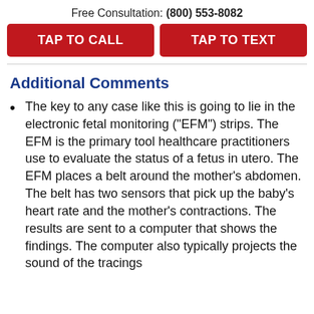Free Consultation: (800) 553-8082
TAP TO CALL
TAP TO TEXT
Additional Comments
The key to any case like this is going to lie in the electronic fetal monitoring ("EFM") strips. The EFM is the primary tool healthcare practitioners use to evaluate the status of a fetus in utero. The EFM places a belt around the mother's abdomen. The belt has two sensors that pick up the baby's heart rate and the mother's contractions. The results are sent to a computer that shows the findings. The computer also typically projects the sound of the tracings